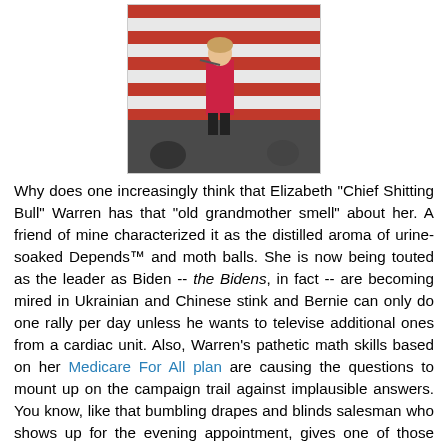[Figure (photo): A person on a stage in front of an American flag backdrop, appearing to be speaking at a political rally.]
Why does one increasingly think that Elizabeth "Chief Shitting Bull" Warren has that "old grandmother smell" about her. A friend of mine characterized it as the distilled aroma of urine-soaked Depends™ and moth balls. She is now being touted as the leader as Biden -- the Bidens, in fact -- are becoming mired in Ukrainian and Chinese stink and Bernie can only do one rally per day unless he wants to televise additional ones from a cardiac unit. Also, Warren's pathetic math skills based on her Medicare For All plan are causing the questions to mount up on the campaign trail against implausible answers. You know, like that bumbling drapes and blinds salesman who shows up for the evening appointment, gives one of those rambling presentations that have you just begging for the bottom line so you can hustle him out of the house and then he tells you that the blinds will cost $36,000 for a house that sells for $250,000 on the going